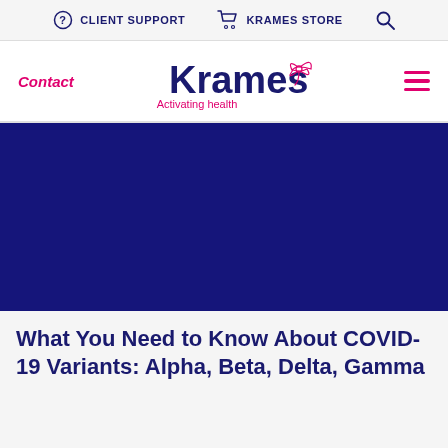CLIENT SUPPORT   KRAMES STORE
[Figure (logo): Krames Activating health logo with hummingbird/windmill icon in navy and pink]
[Figure (photo): Dark navy blue hero image banner]
What You Need to Know About COVID-19 Variants: Alpha, Beta, Delta, Gamma